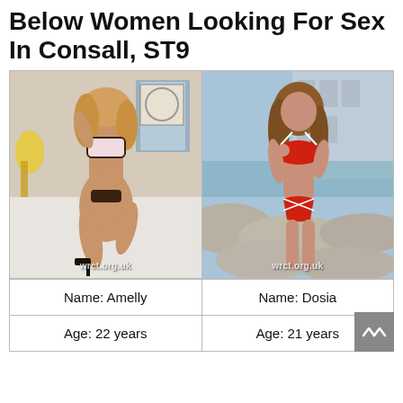Below Women Looking For Sex In Consall, ST9
[Figure (photo): Two photos side by side: left shows a woman in lingerie posing indoors; right shows a woman in a red bikini posing outdoors on rocks. Both photos have watermark 'wrct.org.uk'.]
| Name: Amelly | Name: Dosia |
| Age: 22 years | Age: 21 years |